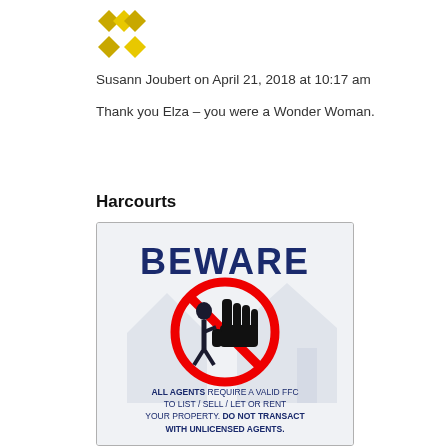[Figure (logo): Harcourts logo with diamond shapes in gold/yellow]
Susann Joubert on April 21, 2018 at 10:17 am
Thank you Elza – you were a Wonder Woman.
Harcourts
[Figure (infographic): Beware warning sign with a prohibition symbol (red circle with diagonal line) over a figure being stopped by a hand. Text reads: BEWARE. ALL AGENTS REQUIRE A VALID FFC TO LIST / SELL / LET OR RENT YOUR PROPERTY. DO NOT TRANSACT WITH UNLICENSED AGENTS.]